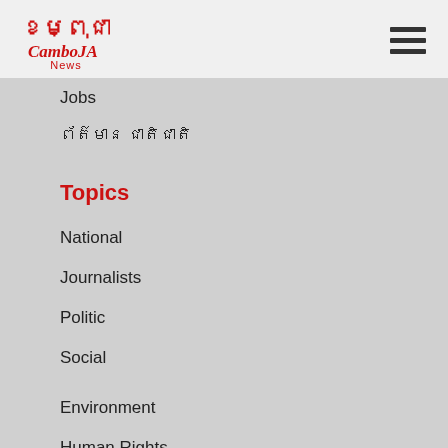[Figure (logo): CamboJA News logo with Khmer script and red/black graphic mark]
Jobs
ព័ត៌មាន ជាតិជាតិ
Topics
National
Journalists
Politic
Social
Environment
Human Rights
Business